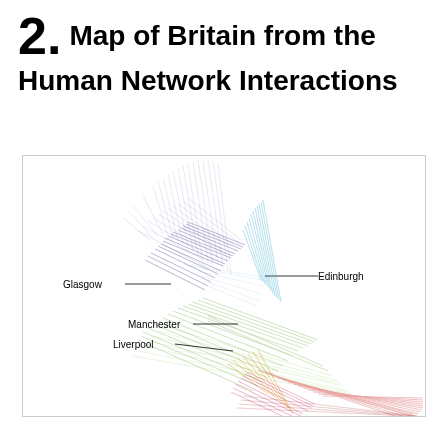2. Map of Britain from the Human Network Interactions
[Figure (network-graph): A network/map visualization of Britain generated from human network interaction data. The image shows colored clusters of lines and nodes representing cities: Glasgow (left, purple cluster), Edinburgh (right, blue/teal cluster), Manchester (lower-middle, green cluster), and Liverpool (lower-left, green/mixed cluster). Red and orange clusters appear in the bottom-right. The shape of the network resembles the geographic outline of Britain.]